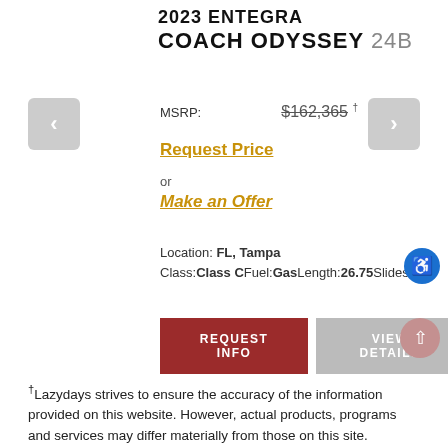2023 ENTEGRA COACH ODYSSEY 24B
MSRP: $162,365 †
Request Price
or
Make an Offer
Location: FL, Tampa
Class:Class CFuel:GasLength:26.75Slides:1
REQUEST INFO
VIEW DETAILS
†Lazydays strives to ensure the accuracy of the information provided on this website. However, actual products, programs and services may differ materially from those on this site. Lazydays is not responsible for errors made in stated pricing.